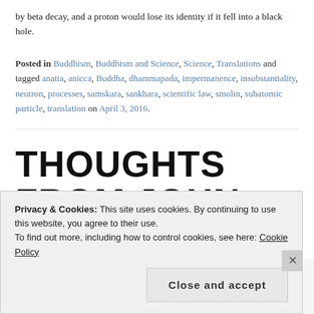by beta decay, and a proton would lose its identity if it fell into a black hole.
Posted in Buddhism, Buddhism and Science, Science, Translations and tagged anatta, anicca, Buddha, dhammapada, impermanence, insubstantiality, neutron, processes, samskara, sankhara, scientific law, smolin, subatomic particle, translation on April 3, 2016.
THOUGHTS FROM JOHN BERGER
Privacy & Cookies: This site uses cookies. By continuing to use this website, you agree to their use.
To find out more, including how to control cookies, see here: Cookie Policy